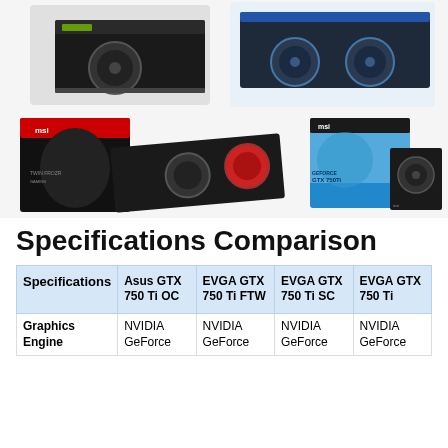[Figure (photo): Four GPU graphics cards and boxes: top row shows two black GPU cards (one with single fan, one with dual fans on blue PCB), bottom row shows MSI Twin Frozr Gaming GTX box with black/red GPU card, and MSI GTX 750 Ti blue box with small black GPU card]
Specifications Comparison
| Specifications | Asus GTX 750 Ti OC | EVGA GTX 750 Ti FTW | EVGA GTX 750 Ti SC | EVGA GTX 750 Ti |
| --- | --- | --- | --- | --- |
| Graphics Engine | NVIDIA GeForce | NVIDIA GeForce | NVIDIA GeForce | NVIDIA GeForce |